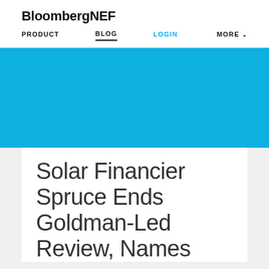BloombergNEF
PRODUCT   BLOG   LOGIN   MORE
[Figure (photo): Blue hero banner image area for BloombergNEF blog post]
Solar Financier Spruce Ends Goldman-Led Review, Names